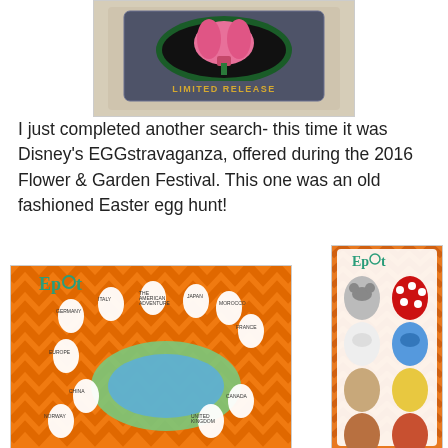[Figure (photo): A Disney limited release pin featuring a pink onion/flower shape on a dark background with 'LIMITED RELEASE' text, shown on a light tan card backing with character silhouettes]
I just completed another search- this time it was Disney's EGGstravaganza, offered during the 2016 Flower & Garden Festival. This one was an old fashioned Easter egg hunt!
[Figure (photo): Epcot EGGstravaganza map on orange chevron background showing egg hunt locations across the park map with character egg illustrations]
[Figure (photo): Epcot EGGstravaganza character card on orange background showing Disney character Easter eggs including Mickey, Minnie, Donald, Daisy, Goofy, Pluto, Chip, Dale, and Perry the Platypus]